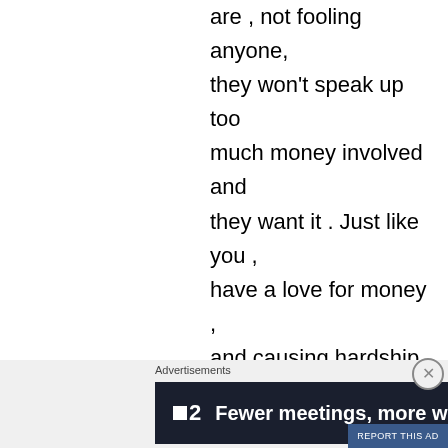are , not fooling anyone, they won't speak up too much money involved and they want it . Just like you , have a love for money , and causing hardship on so many who are barely making ends meet , you cause them more pain. Yea go get that 'award" , imagine getting an award
Advertisements
[Figure (other): Advertisement banner with dark background showing logo '■2' and text 'Fewer meetings, more work.']